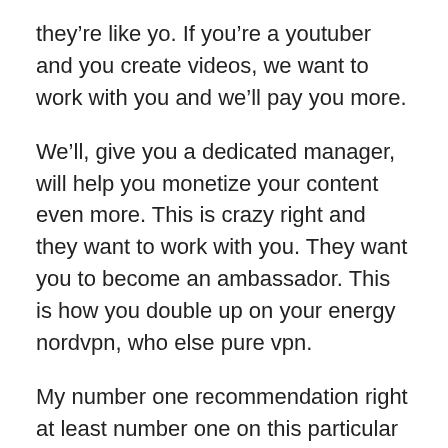they’re like yo. If you’re a youtuber and you create videos, we want to work with you and we’ll pay you more.
We’ll, give you a dedicated manager, will help you monetize your content even more. This is crazy right and they want to work with you. They want you to become an ambassador. This is how you double up on your energy nordvpn, who else pure vpn.
My number one recommendation right at least number one on this particular video. Are you an influencer? Live streamer youtuber. Then it’s time for you to get paid all right. They’re gonna help you get more returns top rated service.
You’re, not gonna have a shortage of audience. You’re gonna be endorsed by major tech publishers, dedicated